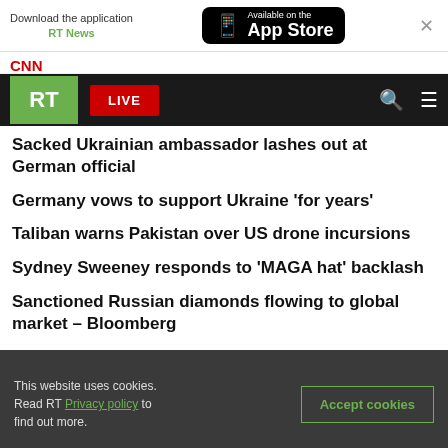[Figure (screenshot): App Store download banner with phone icon, 'Download the application RT News', and 'Available on the App Store' black badge, with X close button]
CNN
[Figure (screenshot): RT navigation bar with green RT logo, red LIVE button, search icon, and hamburger menu on dark background]
Sacked Ukrainian ambassador lashes out at German official
Germany vows to support Ukraine 'for years'
Taliban warns Pakistan over US drone incursions
Sydney Sweeney responds to 'MAGA hat' backlash
Sanctioned Russian diamonds flowing to global market – Bloomberg
This website uses cookies. Read RT Privacy policy to find out more.
Accept cookies